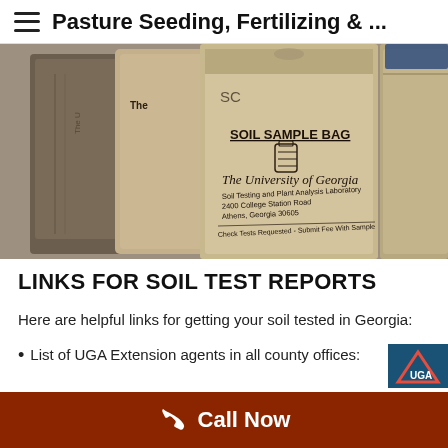Pasture Seeding, Fertilizing & ...
[Figure (photo): Close-up photograph of University of Georgia Soil Sample Bags. The front bag shows text: SOIL SAMPLE BAG, The University of Georgia, Soil Testing and Plant Analysis Laboratory, 2400 College Station Road, Athens, Georgia 30605, Check Tests Requested, Submit Fee With Sample]
LINKS FOR SOIL TEST REPORTS
Here are helpful links for getting your soil tested in Georgia:
List of UGA Extension agents in all county offices: